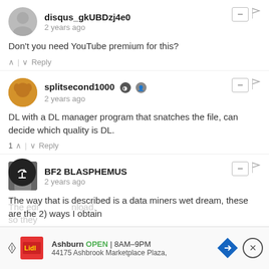disqus_gkUBDzj4e0
2 years ago
Don't you need YouTube premium for this?
^ | v  Reply
splitsecond1000
2 years ago
DL with a DL manager program that snatches the file, can decide which quality is DL.
1 ^ | v  Reply
BF2 BLASPHEMUS
2 years ago
The way that is described is a data miners wet dream, these are the 2) ways I obtain
efox / videodownloadhelper app
2) Masstube
The edi... nload, so they...
[Figure (infographic): Advertisement banner: Ashburn OPEN 8AM-9PM, 44175 Ashbrook Marketplace Plaza, with Lidl logo and navigation arrow, plus close button]